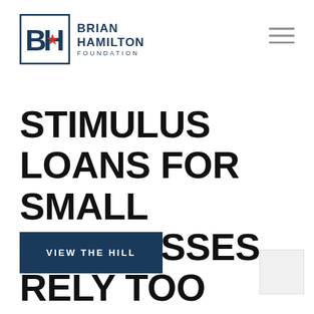[Figure (logo): Brian Hamilton Foundation logo with BH monogram in blue and red, and text BRIAN HAMILTON FOUNDATION]
[Figure (other): Hamburger menu icon (three horizontal lines) in top right corner]
STIMULUS LOANS FOR SMALL BUSINESSES RELY TOO MUCH ON BANKS
VIEW THE HILL